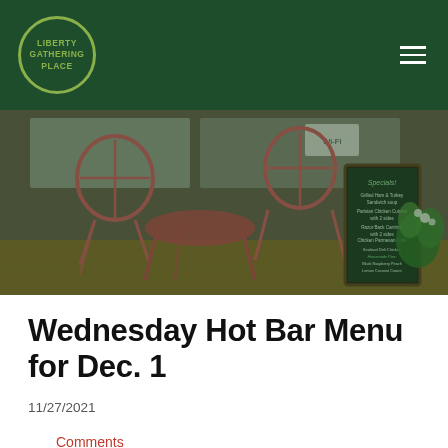Liberty Gathering Place — navigation header with logo
[Figure (photo): Outdoor patio of Liberty Gathering Place showing red metal bistro table and chairs on a wooden deck against a brick wall, with a chalkboard specials sign visible in the center]
Wednesday Hot Bar Menu for Dec. 1
11/27/2021
Comments